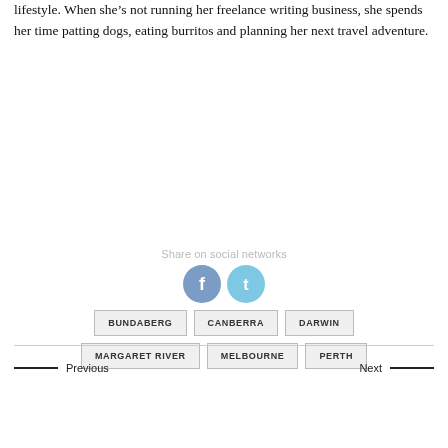lifestyle. When she’s not running her freelance writing business, she spends her time patting dogs, eating burritos and planning her next travel adventure.
BUNDABERG
CANBERRA
DARWIN
MARGARET RIVER
MELBOURNE
PERTH
Share on social networks
[Figure (other): Facebook and Twitter share icon buttons (circular icons)]
Previous
Next